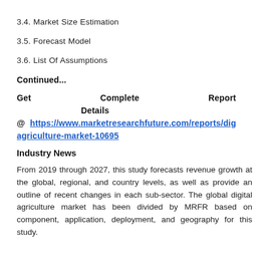3.4. Market Size Estimation
3.5. Forecast Model
3.6. List Of Assumptions
Continued...
Get Complete Report Details @ https://www.marketresearchfuture.com/reports/dig agriculture-market-10695
Industry News
From 2019 through 2027, this study forecasts revenue growth at the global, regional, and country levels, as well as provide an outline of recent changes in each sub-sector. The global digital agriculture market has been divided by MRFR based on component, application, deployment, and geography for this study.